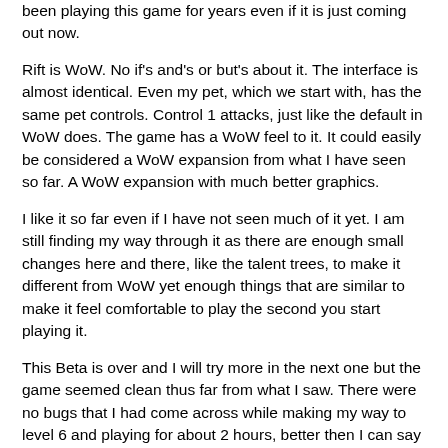been playing this game for years even if it is just coming out now.
Rift is WoW.  No if's and's or but's about it.  The interface is almost identical.  Even my pet, which we start with, has the same pet controls.  Control 1 attacks, just like the default in WoW does.  The game has a WoW feel to it.  It could easily be considered a WoW expansion from what I have seen so far.  A WoW expansion with much better graphics.
I like it so far even if I have not seen much of it yet.  I am still finding my way through it as there are enough small changes here and there, like the talent trees, to make it different from WoW yet enough things that are similar to make it feel comfortable to play the second you start playing it.
This Beta is over and I will try more in the next one but the game seemed clean thus far from what I saw.  There were no bugs that I had come across while making my way to level 6 and playing for about 2 hours, better then I can say for WoW.  I encountered at least 5 bugs within the first 2 hours of Cataclysm after release.